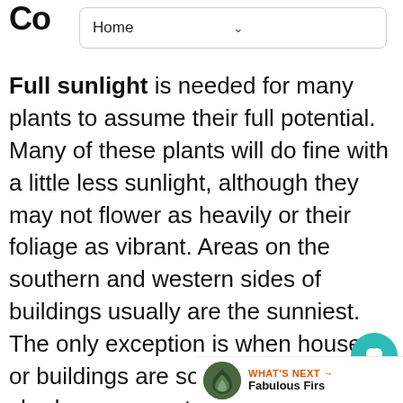Co  Home
Full sunlight is needed for many plants to assume their full potential. Many of these plants will do fine with a little less sunlight, although they may not flower as heavily or their foliage as vibrant. Areas on the southern and western sides of buildings usually are the sunniest. The only exception is when houses or buildings are so close together, shadows are cast from neighboring properties. Full su usually means 6 or more hours of direct unobstructed sunlight on a sunny day. Parti sun receives less than 6 hours of sun, but more than 3 hours. Plants able to ta in some climates may only be able to tolerate
WHAT'S NEXT → Fabulous Firs